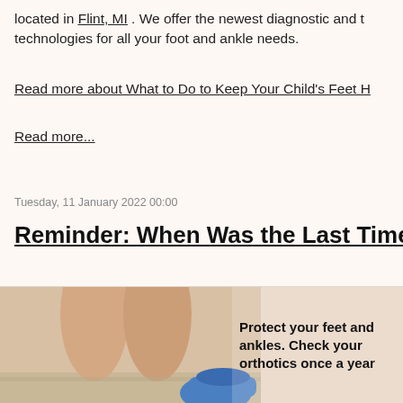located in Flint, MI . We offer the newest diagnostic and t technologies for all your foot and ankle needs.
Read more about What to Do to Keep Your Child's Feet H
Read more...
Tuesday, 11 January 2022 00:00
Reminder: When Was the Last Time..
[Figure (photo): Photo of bare feet and ankles with a blue shoe/sandal visible, overlaid with bold text: Protect your feet and ankles. Check your orthotics once a year]